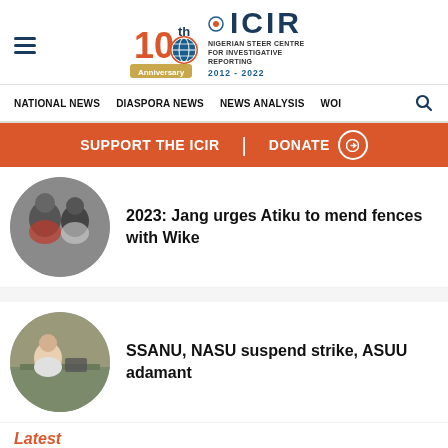ICIR 10th Anniversary — Nigerian Steer Centre for Investigative Reporting — 2012-2022
NATIONAL NEWS | DIASPORA NEWS | NEWS ANALYSIS | WOI
SUPPORT THE ICIR | DONATE
[Figure (photo): Circular thumbnail photo of two men]
2023: Jang urges Atiku to mend fences with Wike
[Figure (photo): Circular thumbnail photo of a man at a desk]
SSANU, NASU suspend strike, ASUU adamant
Latest
Dogara writes IGP, alleges plot by police to assassinat…
8 hours ago